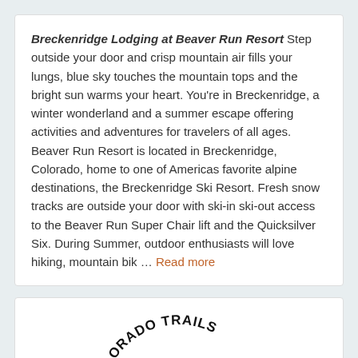Breckenridge Lodging at Beaver Run Resort Step outside your door and crisp mountain air fills your lungs, blue sky touches the mountain tops and the bright sun warms your heart. You're in Breckenridge, a winter wonderland and a summer escape offering activities and adventures for travelers of all ages. Beaver Run Resort is located in Breckenridge, Colorado, home to one of Americas favorite alpine destinations, the Breckenridge Ski Resort. Fresh snow tracks are outside your door with ski-in ski-out access to the Beaver Run Super Chair lift and the Quicksilver Six. During Summer, outdoor enthusiasts will love hiking, mountain bik … Read more
[Figure (logo): Colorado Trails Guest Ranch logo — black and white illustration of a horse, person sitting, and person fly fishing, with text 'COLORADO TRAILS' arched above and 'Guest Ranch' below in a banner]
Colorado Trails Ranch
Durango